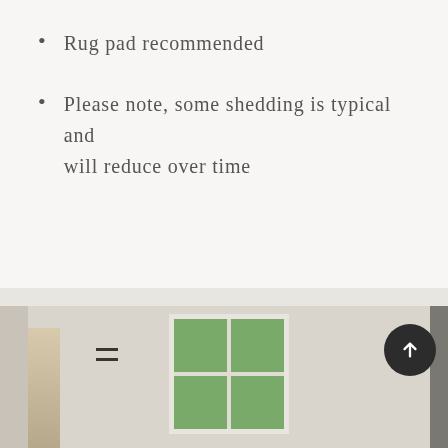Rug pad recommended
Please note, some shedding is typical and will reduce over time
[Figure (photo): Interior room scene showing a white wall with a window looking out to green trees, a black wall hook/bracket, and dried flowers on the left. A dark panel is visible on the right edge.]